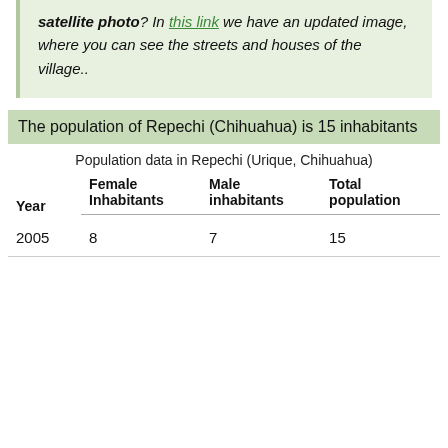satellite photo? In this link we have an updated image, where you can see the streets and houses of the village..
The population of Repechi (Chihuahua) is 15 inhabitants
Population data in Repechi (Urique, Chihuahua)
| Year | Female Inhabitants | Male inhabitants | Total population |
| --- | --- | --- | --- |
| 2005 | 8 | 7 | 15 |